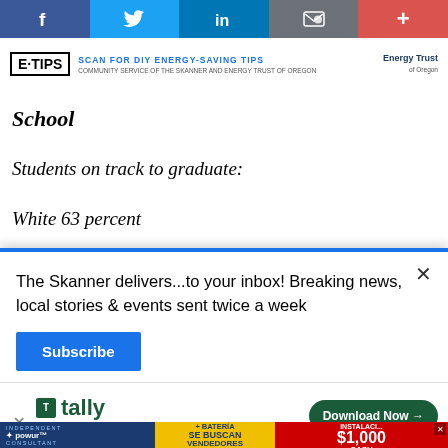Social sharing bar: Facebook, Twitter, LinkedIn, Email, More
[Figure (infographic): Ad banner: logo box, SCAN FOR DIY ENERGY-SAVING TIPS text, Energy Trust of Oregon logo. Community service of The Skanner and Energy Trust of Oregon.]
School
Students on track to graduate:
White 63 percent
Black 34 percent
The Skanner delivers...to your inbox! Breaking news, local stories & events sent twice a week
Subscribe
[Figure (infographic): infolinks logo bar]
[Figure (infographic): Tally credit card payoff ad with Download Now button]
[Figure (infographic): Solar panel ad: Paneles Solares + Bateria, SE BUSCAN VENDEDORES, 310-467-5410, $1,000 CASH, OBTENG UN BONO INSTALACI...]